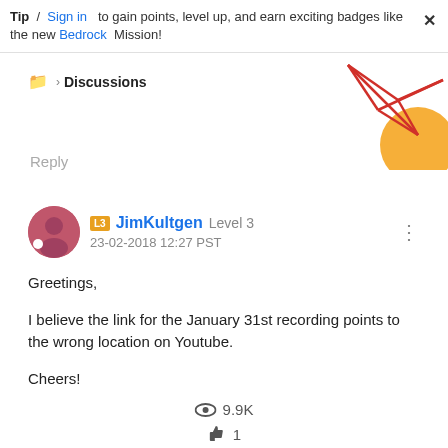Tip / Sign in to gain points, level up, and earn exciting badges like the new Bedrock Mission!
[Figure (illustration): Decorative geometric graphic with red lines and orange circle in top-right corner]
folder > Discussions
Reply
JimKultgen  Level 3  23-02-2018 12:27 PST
Greetings,

I believe the link for the January 31st recording points to the wrong location on Youtube.

Cheers!
9.9K
1